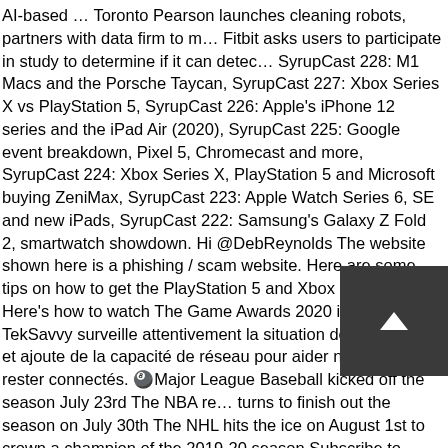AI-based … Toronto Pearson launches cleaning robots, partners with data firm to m… Fitbit asks users to participate in study to determine if it can detec… SyrupCast 228: M1 Macs and the Porsche Taycan, SyrupCast 227: Xbox Series X vs PlayStation 5, SyrupCast 226: Apple's iPhone 12 series and the iPad Air (2020), SyrupCast 225: Google event breakdown, Pixel 5, Chromecast and more, SyrupCast 224: Xbox Series X, PlayStation 5 and Microsoft buying ZeniMax, SyrupCast 223: Apple Watch Series 6, SE and new iPads, SyrupCast 222: Samsung's Galaxy Z Fold 2, smartwatch showdown. Hi @DebReynolds The website shown here is a phishing / scam website. Here are some tips on how to get the PlayStation 5 and Xbox Series X/S... Here's how to watch The Game Awards 2020 in Canada. TekSavvy surveille attentivement la situation de COVID-19 et ajoute de la capacité de réseau pour aider nos clients à rester connectés. 🎱Major League Baseball kicked off the season July 23rd The NBA re… turns to finish out the season on July 30th The NHL hits the ice on August 1st to crown a champion of the 2019-20 season Subscribe to TekSavvy … share wondering if teksavvy will grandfather this promo or if they WILL re … 9 9. comments. Upto 35% Off On All Orders With Teksavvy Promo … Nanoleaf's new Triangles and Mini Triangles allow for awesome ne… Nanoleaf's new